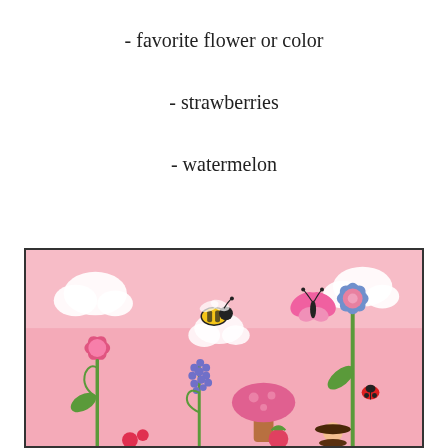- favorite flower or color
- strawberries
- watermelon
[Figure (illustration): Colorful spring garden illustration with pink background, featuring flowers (pink and blue), a bee, a butterfly, a ladybug, mushrooms, clouds, and garden plants.]